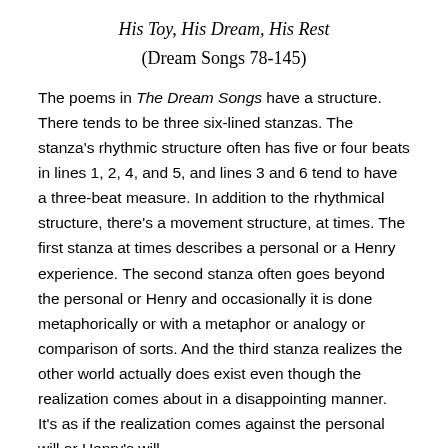His Toy, His Dream, His Rest
(Dream Songs 78-145)
The poems in The Dream Songs have a structure. There tends to be three six-lined stanzas. The stanza's rhythmic structure often has five or four beats in lines 1, 2, 4, and 5, and lines 3 and 6 tend to have a three-beat measure. In addition to the rhythmical structure, there's a movement structure, at times. The first stanza at times describes a personal or a Henry experience. The second stanza often goes beyond the personal or Henry and occasionally it is done metaphorically or with a metaphor or analogy or comparison of sorts. And the third stanza realizes the other world actually does exist even though the realization comes about in a disappointing manner. It's as if the realization comes against the personal will or Henry's will